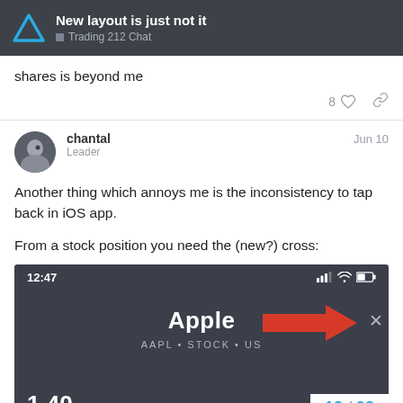New layout is just not it — Trading 212 Chat
shares is beyond me
chantal  Leader  Jun 10
Another thing which annoys me is the inconsistency to tap back in iOS app.

From a stock position you need the (new?) cross:
[Figure (screenshot): A screenshot of a Trading 212 iOS app showing time 12:47, Apple stock page with AAPL • STOCK • US and a red arrow pointing to a navigation element (cross/back button). Page indicator shows 12/98.]